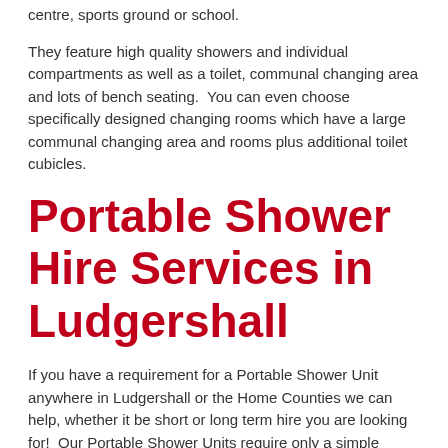centre, sports ground or school.
They feature high quality showers and individual compartments as well as a toilet, communal changing area and lots of bench seating.  You can even choose specifically designed changing rooms which have a large communal changing area and rooms plus additional toilet cubicles.
Portable Shower Hire Services in Ludgershall
If you have a requirement for a Portable Shower Unit anywhere in Ludgershall or the Home Counties we can help, whether it be short or long term hire you are looking for!  Our Portable Shower Units require only a simple mains water supply with access to a drain (or area that allows grey water